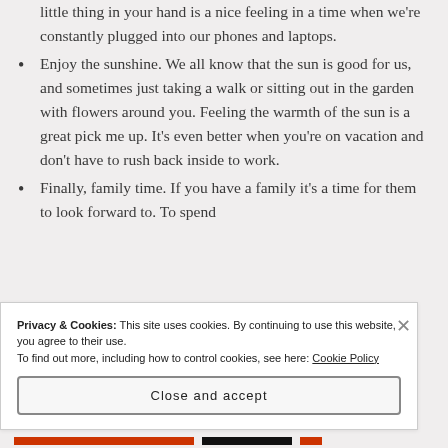little thing in your hand is a nice feeling in a time when we're constantly plugged into our phones and laptops.
Enjoy the sunshine. We all know that the sun is good for us, and sometimes just taking a walk or sitting out in the garden with flowers around you. Feeling the warmth of the sun is a great pick me up. It's even better when you're on vacation and don't have to rush back inside to work.
Finally, family time. If you have a family it's a time for them to look forward to. To spend
Privacy & Cookies: This site uses cookies. By continuing to use this website, you agree to their use.
To find out more, including how to control cookies, see here: Cookie Policy
Close and accept